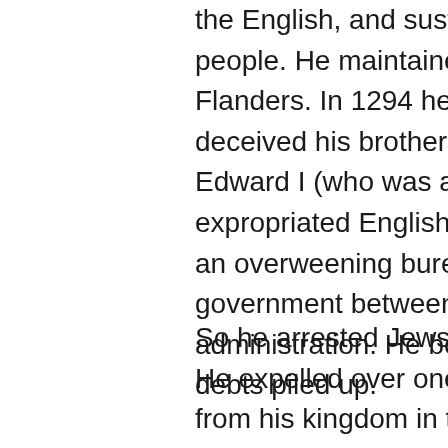the English, and sustained lordly living above his people.  He maintained military pretensions against Flanders.  In 1294 he began a war when he deceived his brother-in-law, the English king, Edward I (who was also Duke of Aquitaine) and expropriated English lands in Gascony.  He instated an overweening bureaucracy to automate his government between factions of tiered administration.  He borrowed from everyone.  The debts piled up.
So he arrested Jews, and seized their assets.  He expelled over one-hundred-thousand of them from his kingdom in the Great Exile of 1306.  He expelled the Lombardi bankers from France when their loans to him came due.  He